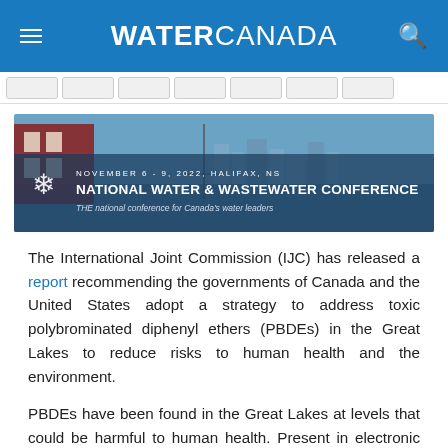WATER CANADA
[Figure (illustration): Banner image for National Water & Wastewater Conference, November 6-9, 2022, Halifax, NS. Background shows a harbour scene. Text reads: NOVEMBER 6 - 9, 2022, HALIFAX, NS / NATIONAL WATER & WASTEWATER CONFERENCE / THE national conference for Canada's water leaders]
The International Joint Commission (IJC) has released a report recommending the governments of Canada and the United States adopt a strategy to address toxic polybrominated diphenyl ethers (PBDEs) in the Great Lakes to reduce risks to human health and the environment.
PBDEs have been found in the Great Lakes at levels that could be harmful to human health. Present in electronic devices, appliances, carpets, mattresses, and furniture, PBDEs are bioaccumulative and toxic to both humans and the environment. Impacts on wildlife include increased mortality